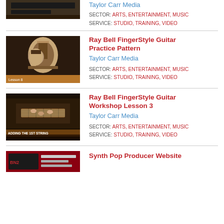[Figure (photo): Partial guitar/video thumbnail at top of page (cropped)]
Taylor Carr Media
SECTOR: ARTS, ENTERTAINMENT, MUSIC
SERVICE: STUDIO, TRAINING, VIDEO
[Figure (photo): Man playing acoustic guitar in dark studio setting - Ray Bell FingerStyle Guitar Practice Pattern thumbnail]
Ray Bell FingerStyle Guitar Practice Pattern
Taylor Carr Media
SECTOR: ARTS, ENTERTAINMENT, MUSIC
SERVICE: STUDIO, TRAINING, VIDEO
[Figure (photo): Close-up of hands on guitar strings - Ray Bell FingerStyle Guitar Workshop Lesson 3 thumbnail, text overlay: ADDING THE 1ST STRING]
Ray Bell FingerStyle Guitar Workshop Lesson 3
Taylor Carr Media
SECTOR: ARTS, ENTERTAINMENT, MUSIC
SERVICE: STUDIO, TRAINING, VIDEO
[Figure (photo): Partial thumbnail for Synth Pop Producer Website (cropped at bottom)]
Synth Pop Producer Website